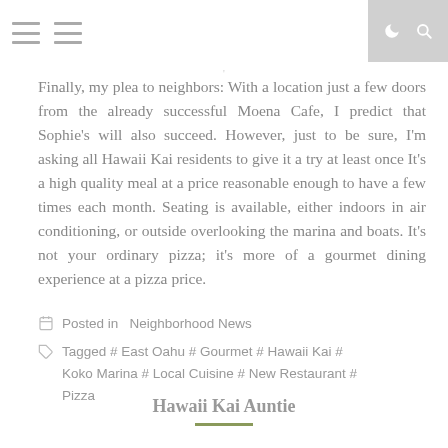Finally, my plea to neighbors: With a location just a few doors from the already successful Moena Cafe, I predict that Sophie’s will also succeed.  However, just to be sure, I’m asking all Hawaii Kai residents to give it a try at least once  It’s a high quality meal at a price reasonable enough to have a few times each month.   Seating is available, either indoors in air conditioning, or outside overlooking the marina and boats.  It’s not your ordinary pizza; it’s more of a gourmet dining experience at a pizza price.
Posted in  Neighborhood News
Tagged # East Oahu # Gourmet # Hawaii Kai # Koko Marina # Local Cuisine # New Restaurant # Pizza
Hawaii Kai Auntie